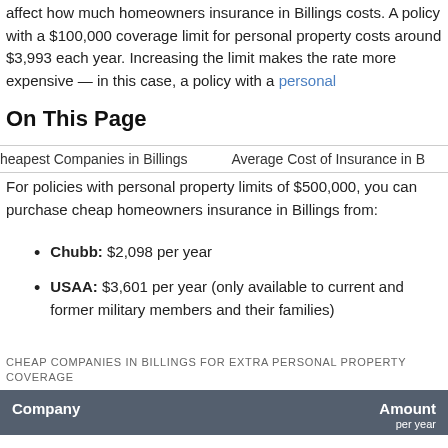affect how much homeowners insurance in Billings costs. A policy with a $100,000 coverage limit for personal property costs around $3,993 each year. Increasing the limit makes the rate more expensive — in this case, a policy with a personal
On This Page
heapest Companies in Billings    Average Cost of Insurance in B
For policies with personal property limits of $500,000, you can purchase cheap homeowners insurance in Billings from:
Chubb: $2,098 per year
USAA: $3,601 per year (only available to current and former military members and their families)
CHEAP COMPANIES IN BILLINGS FOR EXTRA PERSONAL PROPERTY COVERAGE
| Company | Amount
per year |
| --- | --- |